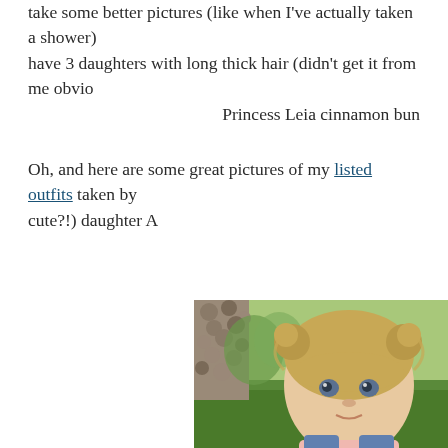take some better pictures (like when I've actually taken a shower) I have 3 daughters with long thick hair (didn't get it from me obviously) Princess Leia cinnamon bun
Oh, and here are some great pictures of my listed outfits taken by cute?!) daughter A
[Figure (photo): Close-up photo of a young toddler girl with blonde hair in two small pigtail buns, wearing a pink shirt and denim overalls, with a stone pillar and green grass in the background.]